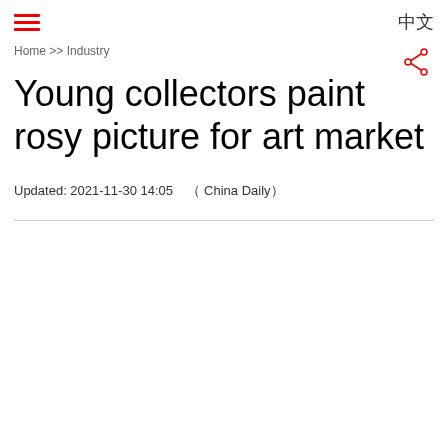≡  中文
Home >> Industry
Young collectors paint rosy picture for art market
Updated: 2021-11-30 14:05    ( China Daily )